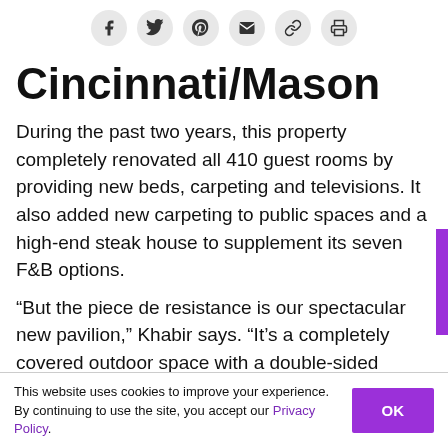[Figure (other): Social sharing icon bar with icons for Facebook, Twitter, Pinterest, Email, Link, and Print]
Cincinnati/Mason
During the past two years, this property completely renovated all 410 guest rooms by providing new beds, carpeting and televisions. It also added new carpeting to public spaces and a high-end steak house to supplement its seven F&B options.
“But the piece de resistance is our spectacular new pavilion,” Khabir says. “It’s a completely covered outdoor space with a double-sided fireplace and handsome landscaping. It’s perfect for receptions
This website uses cookies to improve your experience. By continuing to use the site, you accept our Privacy Policy.